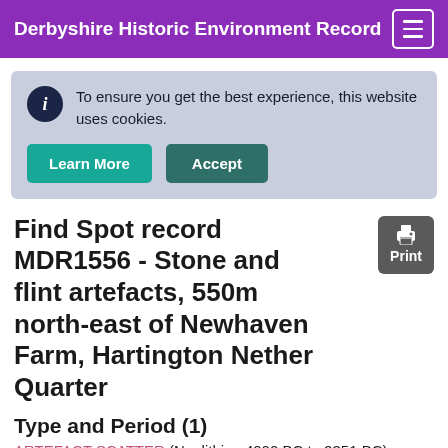Derbyshire Historic Environment Record
To ensure you get the best experience, this website uses cookies.
Find Spot record MDR1556 - Stone and flint artefacts, 550m north-east of Newhaven Farm, Hartington Nether Quarter
Type and Period (1)
ARTEFACT SCATTER (Neolithic - 4000 BC to 2351 BC)
Protected Status (Designation